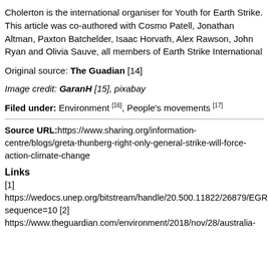Cholerton is the international organiser for Youth for Earth Strike. This article was co-authored with Cosmo Patell, Jonathan Altman, Paxton Batchelder, Isaac Horvath, Alex Rawson, John Ryan and Olivia Sauve, all members of Earth Strike International
Original source: The Guadian [14]
Image credit: GaranH [15], pixabay
Filed under: Environment [16], People's movements [17]
Source URL:https://www.sharing.org/information-centre/blogs/greta-thunberg-right-only-general-strike-will-force-action-climate-change
Links
[1]
https://wedocs.unep.org/bitstream/handle/20.500.11822/26879/EGRsequence=10 [2]
https://www.theguardian.com/environment/2018/nov/28/australia-